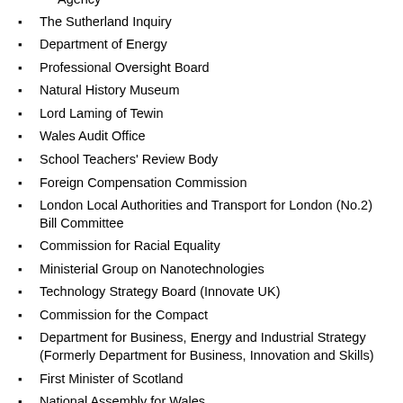Agency
The Sutherland Inquiry
Department of Energy
Professional Oversight Board
Natural History Museum
Lord Laming of Tewin
Wales Audit Office
School Teachers' Review Body
Foreign Compensation Commission
London Local Authorities and Transport for London (No.2) Bill Committee
Commission for Racial Equality
Ministerial Group on Nanotechnologies
Technology Strategy Board (Innovate UK)
Commission for the Compact
Department for Business, Energy and Industrial Strategy (Formerly Department for Business, Innovation and Skills)
First Minister of Scotland
National Assembly for Wales
Energy and Climate Change Committee
Agriculture and Horticulture Development Board
Health and Safety Executive